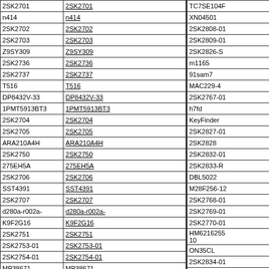| Part | Link |
| --- | --- |
| 2SK2701 | 2SK2701 |
| n414 | n414 |
| 2SK2702 | 2SK2702 |
| 2SK2703 | 2SK2703 |
| Z9SY309 | Z9SY309 |
| 2SK2736 | 2SK2736 |
| 2SK2737 | 2SK2737 |
| T516 | T516 |
| DP8432V-33 | DP8432V-33 |
| 1PMT5913BT3 | 1PMT5913BT3 |
| 2SK2704 | 2SK2704 |
| 2SK2705 | 2SK2705 |
| ARA210A4H | ARA210A4H |
| 2SK2750 | 2SK2750 |
| 275EH5A | 275EH5A |
| 2SK2706 | 2SK2706 |
| SST4391 | SST4391 |
| 2SK2707 | 2SK2707 |
| d280a-r002a- | d280a-r002a- |
| K9F2G16 | K9F2G16 |
| 2SK2751 | 2SK2751 |
| 2SK2753-01 | 2SK2753-01 |
| 2SK2754-01 | 2SK2754-01 |
| MP38671 | MP38671 |
| 27C1024 | 27C1024 |
| Part |
| --- |
| TC7SE104F |
| XN04501 |
| 2SK2808-01 |
| 2SK2809-01 |
| 2SK2826-S |
| m1165 |
| 91sam7 |
| MAC229-4 |
| 2SK2767-01 |
| h7fd |
| KeyFinder |
| 2SK2827-01 |
| 2SK2828 |
| 2SK2832-01 |
| 2SK2833-R |
| DBL5022 |
| M28F256-12 |
| 2SK2768-01 |
| 2SK2769-01 |
| 2SK2770-01 |
| HM6216255 10 |
| ON35CL |
| 2SK2834-01 |
| LM9061 |
| an15525a |